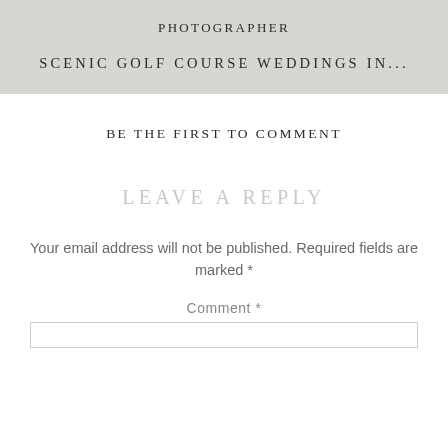PHOTOGRAPHER
SCENIC GOLF COURSE WEDDINGS IN...
BE THE FIRST TO COMMENT
LEAVE A REPLY
Your email address will not be published. Required fields are marked *
Comment *